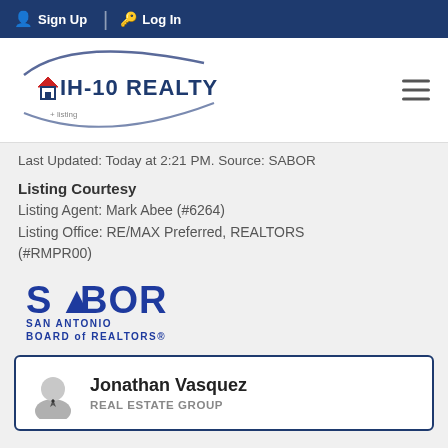Sign Up  Log In
[Figure (logo): IH-10 REALTY logo with house icon and swoosh arc]
Last Updated: Today at 2:21 PM. Source: SABOR
Listing Courtesy
Listing Agent: Mark Abee (#6264)
Listing Office: RE/MAX Preferred, REALTORS (#RMPR00)
[Figure (logo): SABOR - San Antonio Board of REALTORS logo]
Jonathan Vasquez
REAL ESTATE GROUP